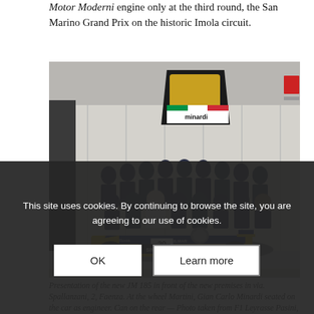Motor Moderni engine only at the third round, the San Marino Grand Prix on the historic Imola circuit.
[Figure (photo): Group photo of Minardi Formula 1 team standing in front of their new premises, with the Minardi logo sign visible on the wall above. A yellow-and-blue F1 car (number 29, with SIMOD and Gilmar sponsorship) is in the foreground with a driver in the cockpit.]
Presentation of the new JM 185 in front of the new premises in via. Spallanzani, 2, Faenza. At the wheel Martini, Gian Carlo Minardi seated on the car as engineer. Can on the rear — Photo taken from F1 Leyrasse (Pasini, Pub. C.E.L.I. Sport
This site uses cookies. By continuing to browse the site, you are agreeing to our use of cookies.